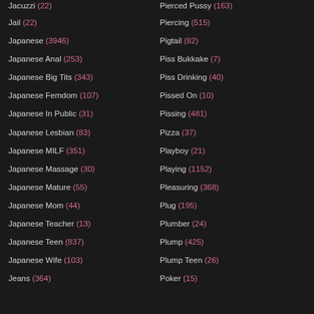Jacuzzi (22)
Jail (22)
Japanese (3946)
Japanese Anal (253)
Japanese Big Tits (343)
Japanese Femdom (107)
Japanese In Public (31)
Japanese Lesbian (83)
Japanese MILF (351)
Japanese Massage (30)
Japanese Mature (55)
Japanese Mom (44)
Japanese Teacher (13)
Japanese Teen (837)
Japanese Wife (103)
Jeans (364)
Pierced Pussy (163)
Piercing (515)
Pigtail (82)
Piss Bukkake (7)
Piss Drinking (40)
Pissed On (10)
Pissing (481)
Pizza (37)
Playboy (21)
Playing (1152)
Pleasuring (368)
Plug (195)
Plumber (24)
Plump (425)
Plump Teen (26)
Poker (15)